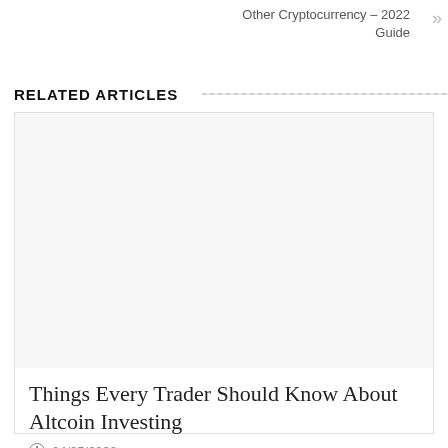Other Cryptocurrency – 2022 Guide
RELATED ARTICLES
[Figure (photo): Placeholder image area for article thumbnail – blank/white]
Things Every Trader Should Know About Altcoin Investing
04/05/2022